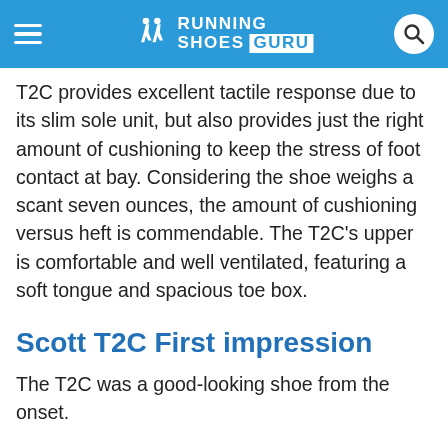RUNNING SHOES GURU
T2C provides excellent tactile response due to its slim sole unit, but also provides just the right amount of cushioning to keep the stress of foot contact at bay. Considering the shoe weighs a scant seven ounces, the amount of cushioning versus heft is commendable. The T2C’s upper is comfortable and well ventilated, featuring a soft tongue and spacious toe box.
Scott T2C First impression
The T2C was a good-looking shoe from the onset.